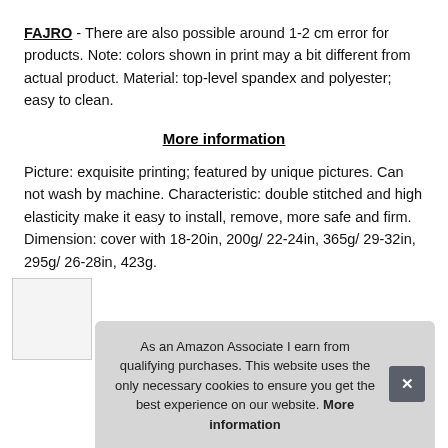FAJRO - There are also possible around 1-2 cm error for products. Note: colors shown in print may a bit different from actual product. Material: top-level spandex and polyester; easy to clean.
More information
Picture: exquisite printing; featured by unique pictures. Can not wash by machine. Characteristic: double stitched and high elasticity make it easy to install, remove, more safe and firm. Dimension: cover with 18-20in, 200g/ 22-24in, 365g/ 29-32in, 295g/ 26-28in, 423g.
As an Amazon Associate I earn from qualifying purchases. This website uses the only necessary cookies to ensure you get the best experience on our website. More information